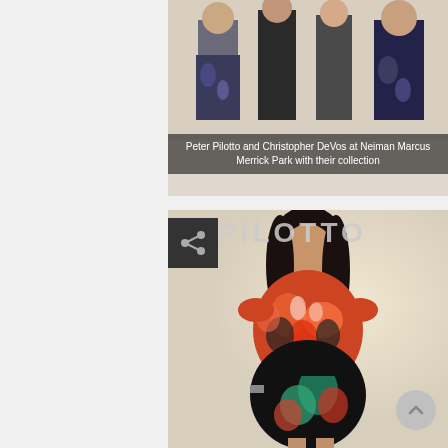[Figure (photo): Group photo at top showing people standing, partially cropped - event at Neiman Marcus Merrick Park featuring fashion collection]
Peter Pilotto and Christopher DeVos at Neiman Marcus Merrick Park with their collection
[Figure (photo): Woman wearing a colorful floral Peter Pilotto dress, orange/black/teal pattern, standing in front of a PILOTTO branded backdrop]